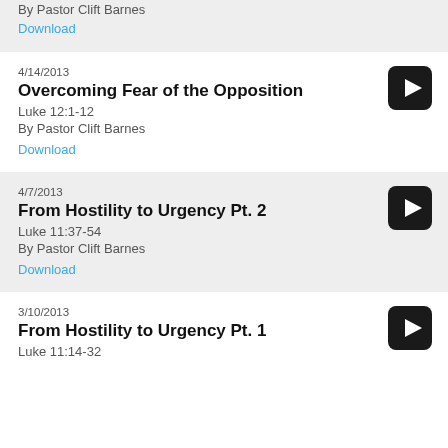By Pastor Clift Barnes
Download
4/14/2013
Overcoming Fear of the Opposition
Luke 12:1-12
By Pastor Clift Barnes
Download
4/7/2013
From Hostility to Urgency Pt. 2
Luke 11:37-54
By Pastor Clift Barnes
Download
3/10/2013
From Hostility to Urgency Pt. 1
Luke 11:14-32